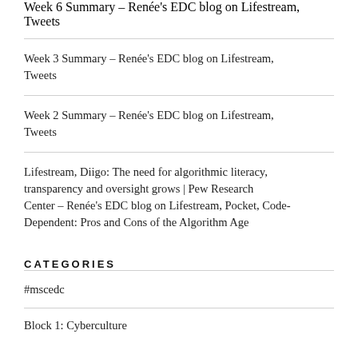Week 6 Summary – Renée's EDC blog on Lifestream, Tweets
Week 3 Summary – Renée's EDC blog on Lifestream, Tweets
Week 2 Summary – Renée's EDC blog on Lifestream, Tweets
Lifestream, Diigo: The need for algorithmic literacy, transparency and oversight grows | Pew Research Center – Renée's EDC blog on Lifestream, Pocket, Code-Dependent: Pros and Cons of the Algorithm Age
CATEGORIES
#mscedc
Block 1: Cyberculture